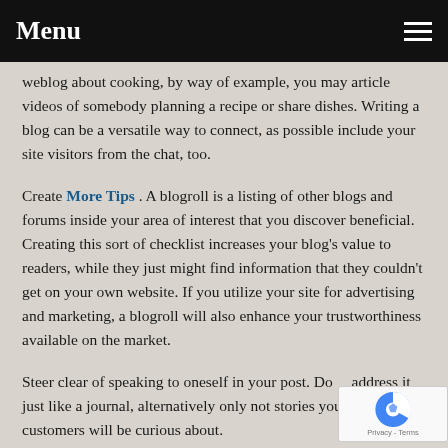Menu
weblog about cooking, by way of example, you may article videos of somebody planning a recipe or share dishes. Writing a blog can be a versatile way to connect, as possible include your site visitors from the chat, too.
Create More Tips . A blogroll is a listing of other blogs and forums inside your area of interest that you discover beneficial. Creating this sort of checklist increases your blog's value to readers, while they just might find information that they couldn't get on your own website. If you utilize your site for advertising and marketing, a blogroll will also enhance your trustworthiness available on the market.
Steer clear of speaking to oneself in your post. Don't address it just like a journal, alternatively only not stories your potential customers will be curious about.